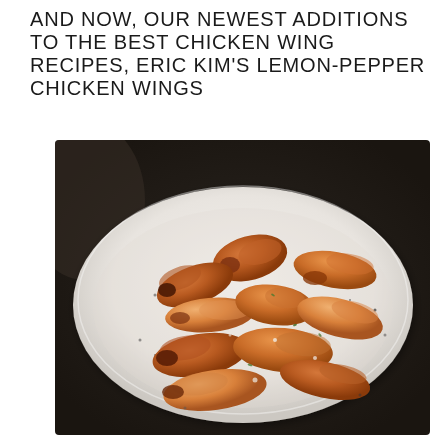AND NOW, OUR NEWEST ADDITIONS TO THE BEST CHICKEN WING RECIPES, ERIC KIM'S LEMON-PEPPER CHICKEN WINGS
[Figure (photo): A white oval platter holding golden-brown lemon-pepper chicken wings scattered with black pepper, herbs, and seasoning, photographed on a dark surface.]